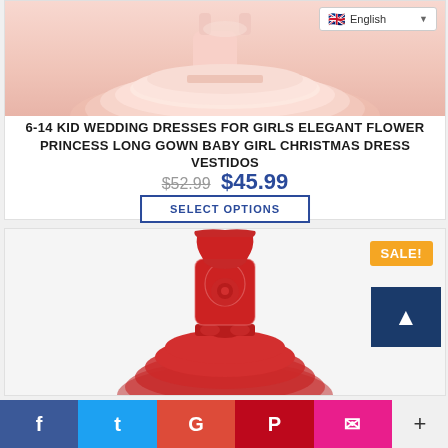[Figure (photo): Cropped photo of a pink tulle princess dress on a child, viewed from below waist. A language selector showing English with UK flag is in the top right corner.]
6-14 KID WEDDING DRESSES FOR GIRLS ELEGANT FLOWER PRINCESS LONG GOWN BABY GIRL CHRISTMAS DRESS VESTIDOS
$52.99  $45.99
SELECT OPTIONS
[Figure (photo): Photo of a red lace bodice flower girl dress with tulle skirt and bow, displayed on invisible mannequin. A yellow SALE! badge appears in the top right corner.]
SALE!
f  t  G  P  ✉  +